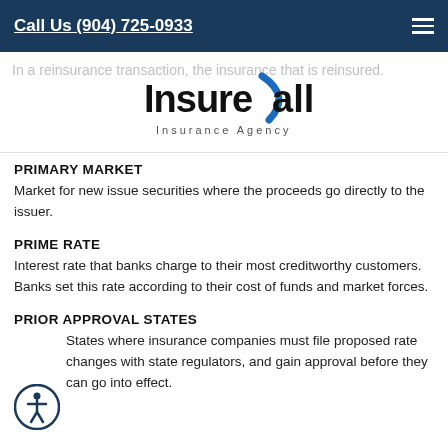Call Us (904) 725-0933
[Figure (logo): InsureAll Insurance Agency logo with blue swoosh]
PRIMARY MARKET
Market for new issue securities where the proceeds go directly to the issuer.
PRIME RATE
Interest rate that banks charge to their most creditworthy customers. Banks set this rate according to their cost of funds and market forces.
PRIOR APPROVAL STATES
States where insurance companies must file proposed rate changes with state regulators, and gain approval before they can go into effect.